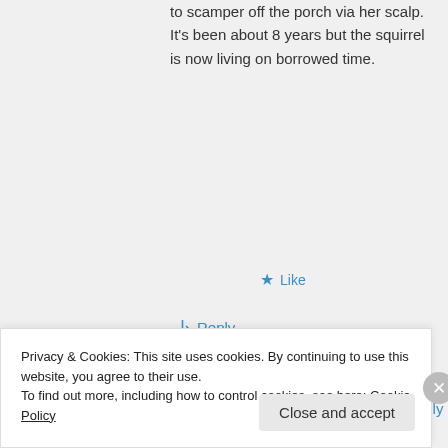to scamper off the porch via her scalp. It's been about 8 years but the squirrel is now living on borrowed time.
★ Like
↳ Reply
lameadventures on July 16, 2012 at 8:12 am
Privacy & Cookies: This site uses cookies. By continuing to use this website, you agree to their use.
To find out more, including how to control cookies, see here: Cookie Policy